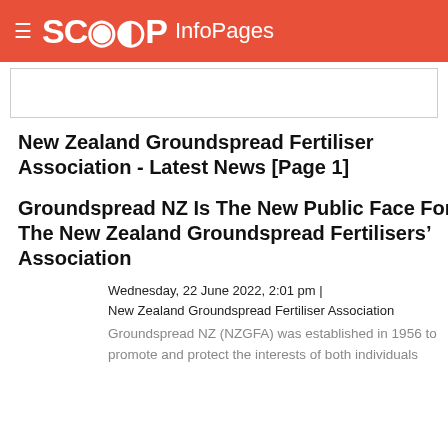SCOOP InfoPages
New Zealand Groundspread Fertiliser Association - Latest News [Page 1]
Groundspread NZ Is The New Public Face For The New Zealand Groundspread Fertilisers’ Association
Wednesday, 22 June 2022, 2:01 pm | New Zealand Groundspread Fertiliser Association
Groundspread NZ (NZGFA) was established in 1956 to promote and protect the interests of both individuals